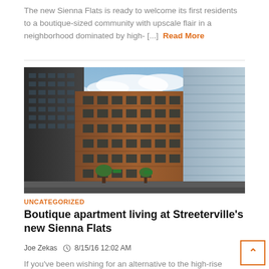The new Sienna Flats is ready to welcome its first residents to a boutique-sized community with upscale flair in a neighborhood dominated by high- [...] Read More
[Figure (photo): Exterior rendering/photo of Sienna Flats apartment building in Streeterville, a mid-rise brick building with dark windows flanked by glass high-rise towers, street level view]
UNCATEGORIZED
Boutique apartment living at Streeterville's new Sienna Flats
Joe Zekas  8/15/16 12:02 AM
If you've been wishing for an alternative to the high-rise towers